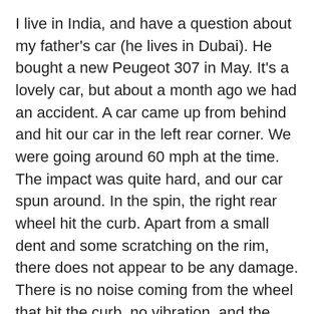I live in India, and have a question about my father's car (he lives in Dubai). He bought a new Peugeot 307 in May. It's a lovely car, but about a month ago we had an accident. A car came up from behind and hit our car in the left rear corner. We were going around 60 mph at the time. The impact was quite hard, and our car spun around. In the spin, the right rear wheel hit the curb. Apart from a small dent and some scratching on the rim, there does not appear to be any damage. There is no noise coming from the wheel that hit the curb, no vibration, and the alignment looks fine. It's as if nothing had happened. So we decided not to take the car to the shop for repairs. My question is, Could there be any damage that has no symptoms? Should we go to the repair shop even if nothing seems wrong?
-- Aniket
TOM: It's a good question,
[Figure (illustration): Circular avatar illustration of a person, partially visible at bottom right corner of the page]